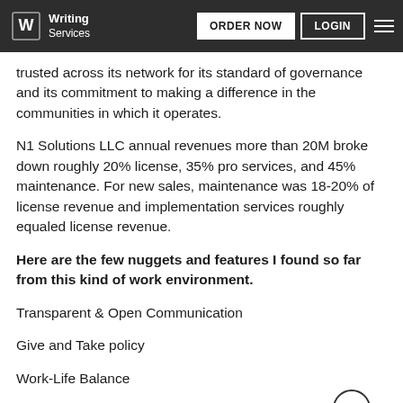Writing Services | ORDER NOW | LOGIN
trusted across its network for its standard of governance and its commitment to making a difference in the communities in which it operates.
N1 Solutions LLC annual revenues more than 20M broke down roughly 20% license, 35% pro services, and 45% maintenance. For new sales, maintenance was 18-20% of license revenue and implementation services roughly equaled license revenue.
Here are the few nuggets and features I found so far from this kind of work environment.
Transparent & Open Communication
Give and Take policy
Work-Life Balance
Training & Development-Focused
Recognition for Hard Work